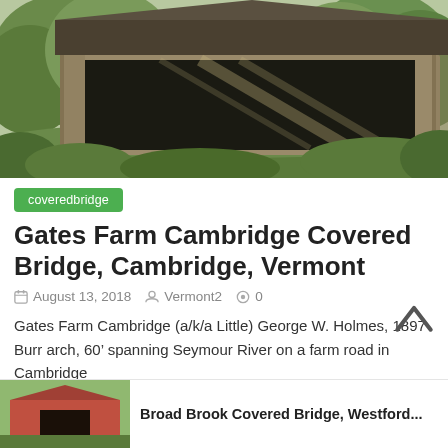[Figure (photo): Photograph of Gates Farm Cambridge Covered Bridge — a weathered wooden covered bridge with dark interior, surrounded by green trees and foliage]
coveredbridge
Gates Farm Cambridge Covered Bridge, Cambridge, Vermont
August 13, 2018   Vermont2   0
Gates Farm Cambridge (a/k/a Little) George W. Holmes, 1897 Burr arch, 60’ spanning Seymour River on a farm road in Cambridge
[Figure (photo): Small thumbnail photo of another covered bridge (red/brown structure)]
Broad Brook Covered Bridge, Westford...